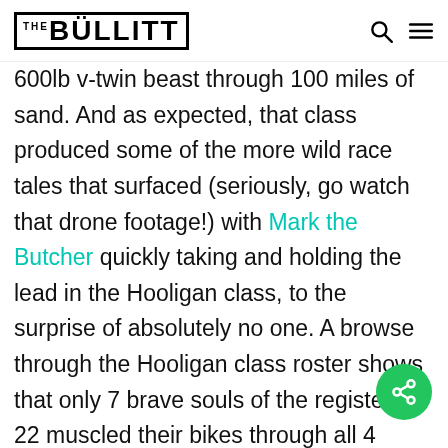The Bullitt
600lb v-twin beast through 100 miles of sand. And as expected, that class produced some of the more wild race tales that surfaced (seriously, go watch that drone footage!) with Mark the Butcher quickly taking and holding the lead in the Hooligan class, to the surprise of absolutely no one. A browse through the Hooligan class roster shows that only 7 brave souls of the registered 22 muscled their bikes through all 4 required laps.